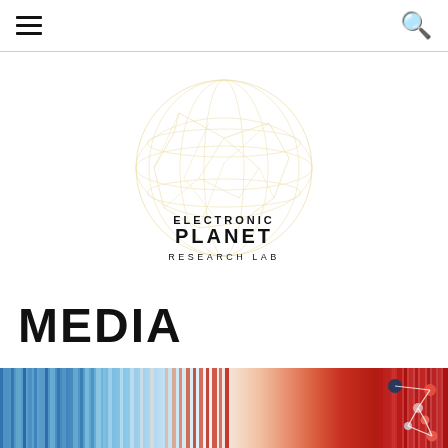Navigation menu and search icon
[Figure (logo): Electronic Planet Research Lab logo: a golden globe-like circular illustration made of fine network lines, with text 'ELECTRONIC PLANET RESEARCH LAB' centered below the globe graphic]
MEDIA
[Figure (illustration): A warming stripes visualization showing vertical bars transitioning from blue on the left to red on the right, representing climate temperature data over time. An overlaid network/node diagram with circles and connecting lines is shown on the right side.]